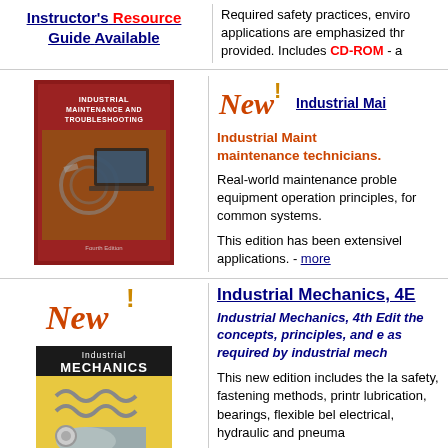Required safety practices, environmental applications are emphasized thr provided. Includes CD-ROM - a
Instructor's Resource Guide Available
[Figure (photo): Book cover: Industrial Maintenance and Troubleshooting]
[Figure (illustration): New! badge in stylized red-orange italic font]
Industrial Mai
Industrial Maint maintenance technicians.
Real-world maintenance proble equipment operation principles, for common systems.
This edition has been extensivel applications. - more
Industrial Mechanics, 4E
[Figure (illustration): New! badge in stylized red-orange italic font]
Industrial Mechanics, 4th Edit the concepts, principles, and as required by industrial mec
[Figure (photo): Book cover: Industrial Mechanics]
This new edition includes the la safety, fastening methods, print lubrication, bearings, flexible be electrical, hydraulic and pneum